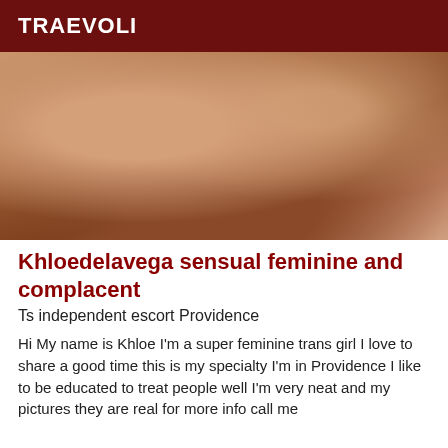TRAEVOLI
[Figure (photo): Close-up photo with warm brown tones]
Khloedelavega sensual feminine and complacent
Ts independent escort Providence
Hi My name is Khloe I'm a super feminine trans girl I love to share a good time this is my specialty I'm in Providence I like to be educated to treat people well I'm very neat and my pictures they are real for more info call me